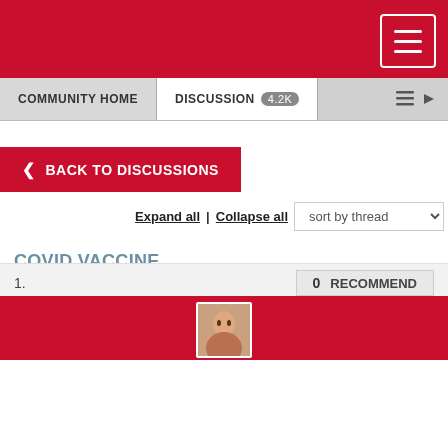COMMUNITY HOME | DISCUSSION 4.2K
BACK TO DISCUSSIONS
Expand all | Collapse all  sort by thread
COVID VACCINE
AGNES JOHNSON  08-30-2021 10:59  Anyone have an uptick of AFIB episodes (psvt) after covid vaccine? I have. Doctors mum.
1.  0  RECOMMEND